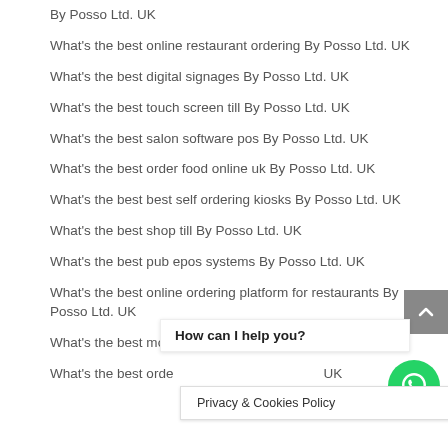By Posso Ltd. UK
What's the best online restaurant ordering By Posso Ltd. UK
What's the best digital signages By Posso Ltd. UK
What's the best touch screen till By Posso Ltd. UK
What's the best salon software pos By Posso Ltd. UK
What's the best order food online uk By Posso Ltd. UK
What's the best best self ordering kiosks By Posso Ltd. UK
What's the best shop till By Posso Ltd. UK
What's the best pub epos systems By Posso Ltd. UK
What's the best online ordering platform for restaurants By Posso Ltd. UK
What's the best mobile app restaurant By Posso Ltd. UK
What's the best orde… UK